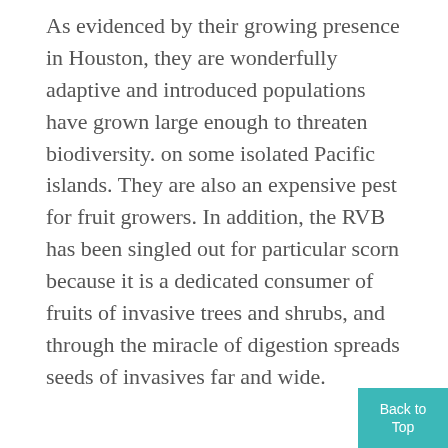As evidenced by their growing presence in Houston, they are wonderfully adaptive and introduced populations have grown large enough to threaten biodiversity. on some isolated Pacific islands. They are also an expensive pest for fruit growers. In addition, the RVB has been singled out for particular scorn because it is a dedicated consumer of fruits of invasive trees and shrubs, and through the miracle of digestion spreads seeds of invasives far and wide.
[Figure (other): Orange button labeled 'Events & Tours' with a calendar/checkbox icon, inside a light blue box. A teal 'Back to Top' button appears in the bottom right corner.]